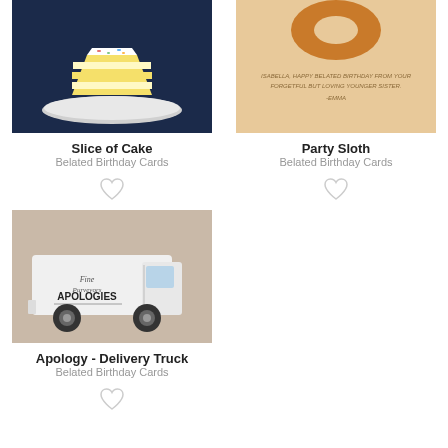[Figure (illustration): Slice of yellow cake on a plate, dark navy blue background]
Slice of Cake
Belated Birthday Cards
[Figure (illustration): Party Sloth illustration on peach/tan background with text: Isabella, happy belated birthday from your forgetful but loving younger sister. -Emma]
Party Sloth
Belated Birthday Cards
[Figure (illustration): White delivery truck on tan/beige background with text: Fine Purveyors of APOLOGIES]
Apology - Delivery Truck
Belated Birthday Cards